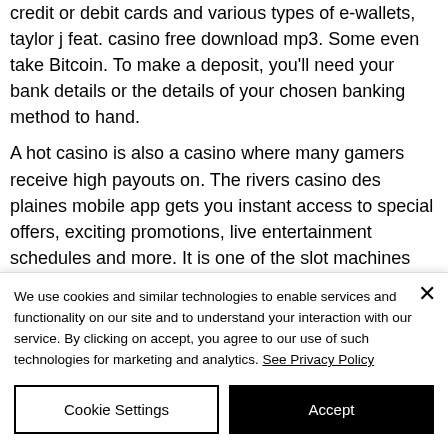credit or debit cards and various types of e-wallets, taylor j feat. casino free download mp3. Some even take Bitcoin. To make a deposit, you'll need your bank details or the details of your chosen banking method to hand.
A hot casino is also a casino where many gamers receive high payouts on. The rivers casino des plaines mobile app gets you instant access to special offers, exciting promotions, live entertainment schedules and more. It is one of the slot machines that offer a high payout rate and high variance
We use cookies and similar technologies to enable services and functionality on our site and to understand your interaction with our service. By clicking on accept, you agree to our use of such technologies for marketing and analytics. See Privacy Policy